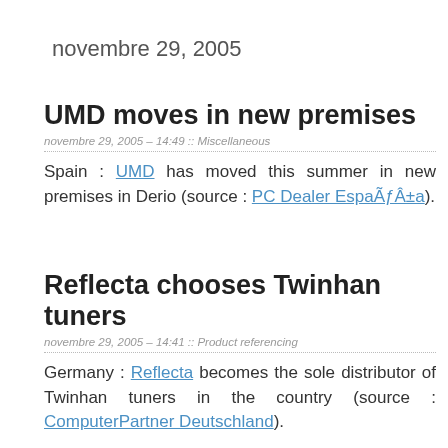novembre 29, 2005
UMD moves in new premises
novembre 29, 2005 – 14:49 :: Miscellaneous
Spain : UMD has moved this summer in new premises in Derio (source : PC Dealer EspaÃƒÂ±a).
Reflecta chooses Twinhan tuners
novembre 29, 2005 – 14:41 :: Product referencing
Germany : Reflecta becomes the sole distributor of Twinhan tuners in the country (source : ComputerPartner Deutschland).